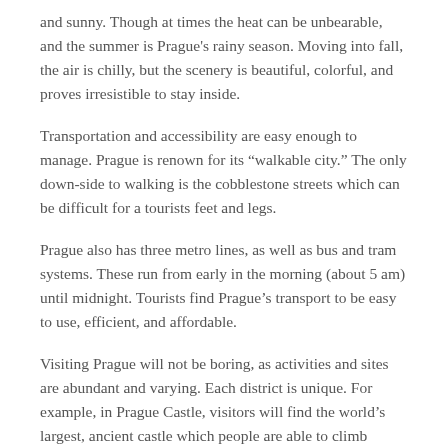and sunny. Though at times the heat can be unbearable, and the summer is Prague's rainy season. Moving into fall, the air is chilly, but the scenery is beautiful, colorful, and proves irresistible to stay inside.
Transportation and accessibility are easy enough to manage. Prague is renown for its “walkable city.” The only down-side to walking is the cobblestone streets which can be difficult for a tourists feet and legs.
Prague also has three metro lines, as well as bus and tram systems. These run from early in the morning (about 5 am) until midnight. Tourists find Prague’s transport to be easy to use, efficient, and affordable.
Visiting Prague will not be boring, as activities and sites are abundant and varying. Each district is unique. For example, in Prague Castle, visitors will find the world’s largest, ancient castle which people are able to climb inside and enjoy magnificent views of the areas below.